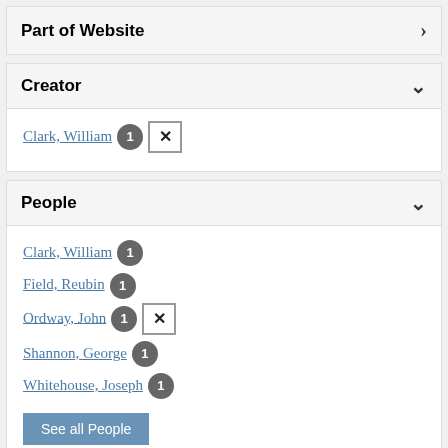Part of Website
Creator
Clark, William 1 [x]
People
Clark, William 1
Field, Reubin 1
Ordway, John 1 [x]
Shannon, George 1
Whitehouse, Joseph 1
See all People